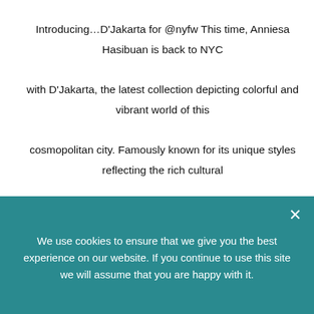Introducing…D'Jakarta for @nyfw This time, Anniesa Hasibuan is back to NYC with D'Jakarta, the latest collection depicting colorful and vibrant world of this cosmopolitan city. Famously known for its unique styles reflecting the rich cultural diversity, this Capital of Indonesia inspires Anniesa to once again present another remarkable face of Indonesian stunning ethnic mosaics. For the patterns, Anniesa uses printing techniques for belt and batik to add the Indonesian touch and her bold signature characters. As for the colors, earthy tone combined with
We use cookies to ensure that we give you the best experience on our website. If you continue to use this site we will assume that you are happy with it.